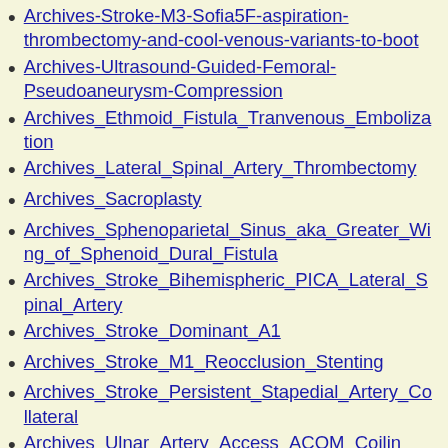Archives-Stroke-M3-Sofia5F-aspiration-thrombectomy-and-cool-venous-variants-to-boot
Archives-Ultrasound-Guided-Femoral-Pseudoaneurysm-Compression
Archives_Ethmoid_Fistula_Tranvenous_Embolization
Archives_Lateral_Spinal_Artery_Thrombectomy
Archives_Sacroplasty
Archives_Sphenoparietal_Sinus_aka_Greater_Wing_of_Sphenoid_Dural_Fistula
Archives_Stroke_Bihemispheric_PICA_Lateral_Spinal_Artery
Archives_Stroke_Dominant_A1
Archives_Stroke_M1_Reocclusion_Stenting
Archives_Stroke_Persistent_Stapedial_Artery_Collateral
Archives_Ulnar_Artery_Access_ACOM_Coiling_...